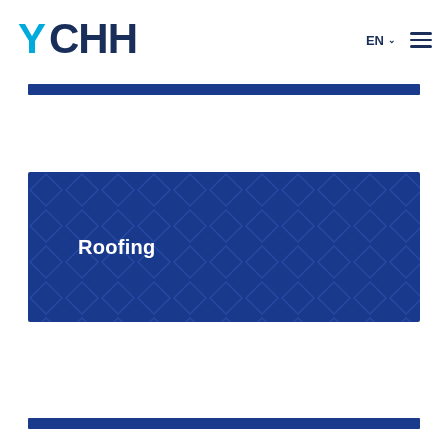[Figure (logo): YCHHE company logo with cyan and blue color scheme]
EN ∨
[Figure (other): Hamburger menu icon]
[Figure (other): Dark blue horizontal bar (partially visible, top of page content)]
[Figure (other): Dark blue banner with diamond/tile texture pattern and 'Roofing' text overlay]
Roofing
[Figure (other): Dark blue horizontal bar (partially visible, bottom of page)]